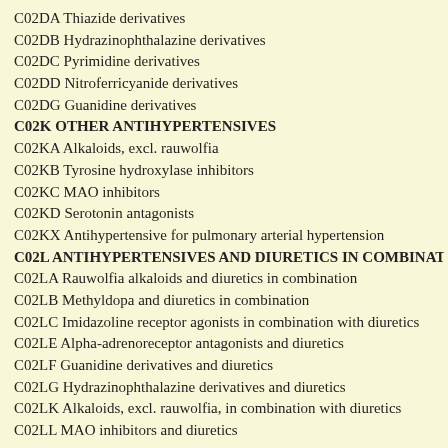C02DA Thiazide derivatives
C02DB Hydrazinophthalazine derivatives
C02DC Pyrimidine derivatives
C02DD Nitroferricyanide derivatives
C02DG Guanidine derivatives
C02K OTHER ANTIHYPERTENSIVES
C02KA Alkaloids, excl. rauwolfia
C02KB Tyrosine hydroxylase inhibitors
C02KC MAO inhibitors
C02KD Serotonin antagonists
C02KX Antihypertensive for pulmonary arterial hypertension
C02L ANTIHYPERTENSIVES AND DIURETICS IN COMBINATI
C02LA Rauwolfia alkaloids and diuretics in combination
C02LB Methyldopa and diuretics in combination
C02LC Imidazoline receptor agonists in combination with diuretics
C02LE Alpha-adrenoreceptor antagonists and diuretics
C02LF Guanidine derivatives and diuretics
C02LG Hydrazinophthalazine derivatives and diuretics
C02LK Alkaloids, excl. rauwolfia, in combination with diuretics
C02LL MAO inhibitors and diuretics